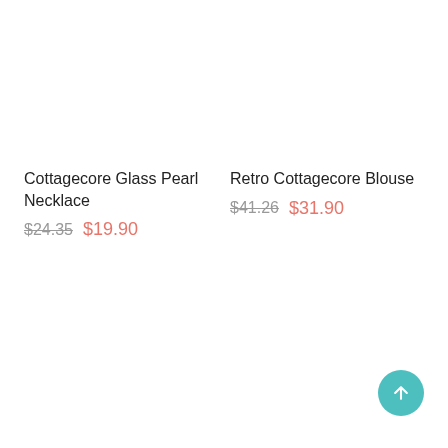Cottagecore Glass Pearl Necklace
$24.35  $19.90
Retro Cottagecore Blouse
$41.26  $31.90